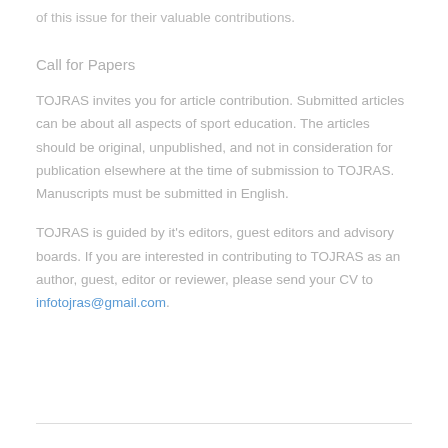of this issue for their valuable contributions.
Call for Papers
TOJRAS invites you for article contribution. Submitted articles can be about all aspects of sport education. The articles should be original, unpublished, and not in consideration for publication elsewhere at the time of submission to TOJRAS. Manuscripts must be submitted in English.
TOJRAS is guided by it's editors, guest editors and advisory boards. If you are interested in contributing to TOJRAS as an author, guest, editor or reviewer, please send your CV to infotojras@gmail.com.